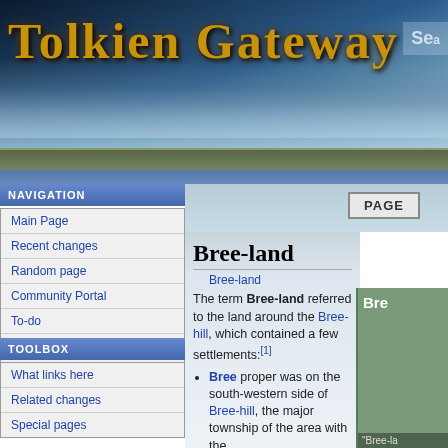[Figure (screenshot): Tolkien Gateway website header banner with mountain background and golden title text]
Tolkien Gateway
NAVIGATION
Main Page
Recent changes
Random page
Community Portal
To-do
Forums
Chat
Help
TOOLBOX
What links here
Related changes
Special pages
Bree-land
Bree-land
The term Bree-land referred to the land around the Bree-hill, which contained a few settlements:[1]
Bree proper was on the south-western side of Bree-hill, the major township of the area with the former Bree-land